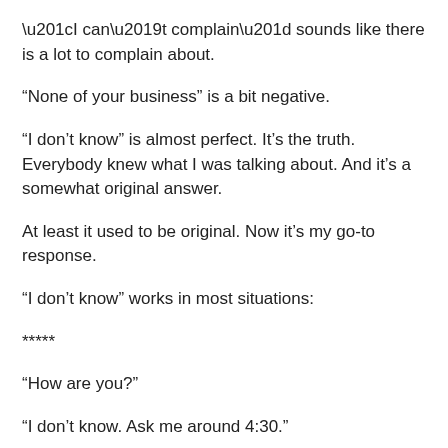“I can’t complain” sounds like there is a lot to complain about.
“None of your business” is a bit negative.
“I don’t know” is almost perfect. It’s the truth. Everybody knew what I was talking about. And it’s a somewhat original answer.
At least it used to be original. Now it’s my go-to response.
“I don’t know” works in most situations:
*****
“How are you?”
“I don’t know. Ask me around 4:30.”